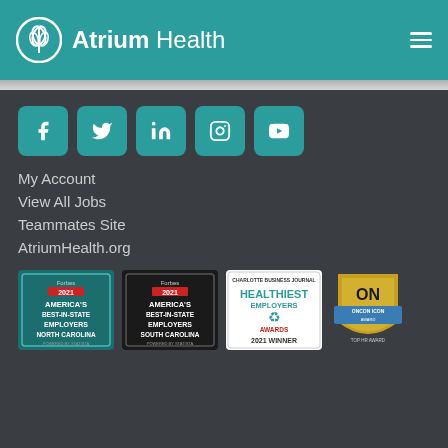Atrium Health
[Figure (logo): Atrium Health logo with leaf/wheat icon on teal background header]
[Figure (infographic): Social media icon buttons: Facebook, Twitter, LinkedIn, Instagram, YouTube — teal rounded square buttons]
My Account
View All Jobs
Teammates Site
AtriumHealth.org
[Figure (infographic): Forbes 2021 America's Best-In-State Employers North Carolina badge (teal background)]
[Figure (infographic): Forbes 2021 America's Best-In-State Employers South Carolina badge (dark background)]
[Figure (infographic): Charlotte Business Journal Healthiest Employers of Greater Charlotte Awards 2021 Winner badge]
[Figure (infographic): ONCON ICON award badge (gold shield with blue banner)]